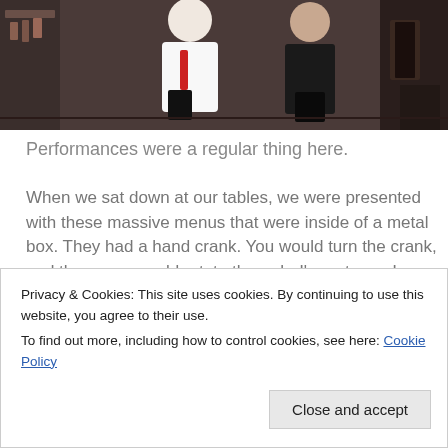[Figure (photo): Two people in a restaurant or bar setting, one wearing a white top with a red design, posing together.]
Performances were a regular thing here.
When we sat down at our tables, we were presented with these massive menus that were inside of a metal box. They had a hand crank. You would turn the crank, and the menu would rotate through. I’m not sure I ever found the end of it.
[Figure (photo): Dark restaurant scene with candles glowing, crowd of diners visible in dim lighting.]
Privacy & Cookies: This site uses cookies. By continuing to use this website, you agree to their use.
To find out more, including how to control cookies, see here: Cookie Policy